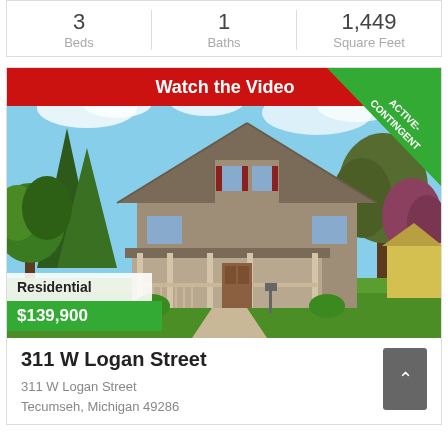3 Beds
1 Baths
1,449 Square Feet
[Figure (photo): Exterior photo of a residential home at 311 W Logan Street, Tecumseh Michigan. A charming craftsman-style house with a covered front porch, surrounded by mature trees and green lawn. Red banner at top reads 'Watch the Video'. Green corner badge reads 'ACTIVE-CONTINGENT'. White label reads 'Residential'. Green price badge reads '$139,900'.]
311 W Logan Street
311 W Logan Street
Tecumseh, Michigan 49286